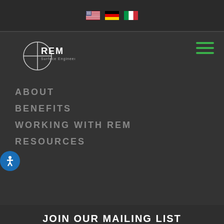[Figure (logo): Language flag icons: US, German, Italian]
[Figure (logo): REM Surface Engineering logo with circle crosshair]
ABOUT
BENEFITS
WORKING WITH REM
RESOURCES
JOIN OUR MAILING LIST
This website uses cookies to improve your experience. We'll assume you're ok with this, but you can opt-out if you wish.